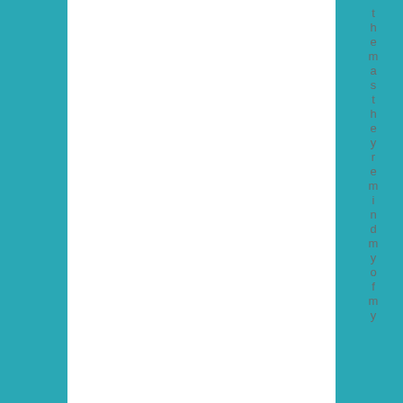t h e m a s t h e y r e m i n d m y o f m y